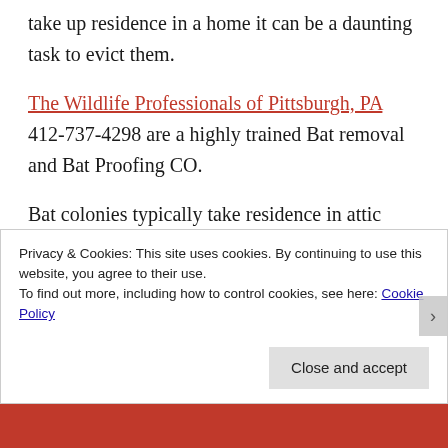take up residence in a home it can be a daunting task to evict them.
The Wildlife Professionals of Pittsburgh, PA 412-737-4298 are a highly trained Bat removal and Bat Proofing CO.
Bat colonies typically take residence in attic spaces of —
Privacy & Cookies: This site uses cookies. By continuing to use this website, you agree to their use.
To find out more, including how to control cookies, see here: Cookie Policy